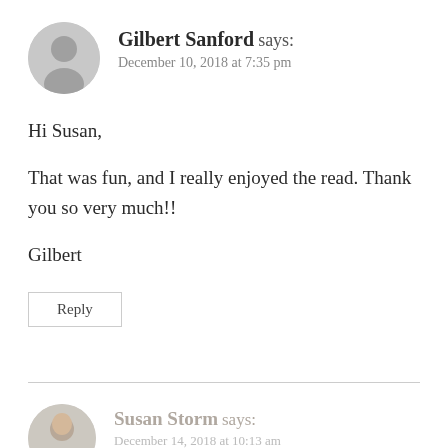[Figure (illustration): Grey circular avatar placeholder icon for user Gilbert Sanford]
Gilbert Sanford says:
December 10, 2018 at 7:35 pm
Hi Susan,

That was fun, and I really enjoyed the read. Thank you so very much!!

Gilbert
Reply
[Figure (photo): Small circular avatar photo of Susan Storm]
Susan Storm says:
December 14, 2018 at 10:13 am